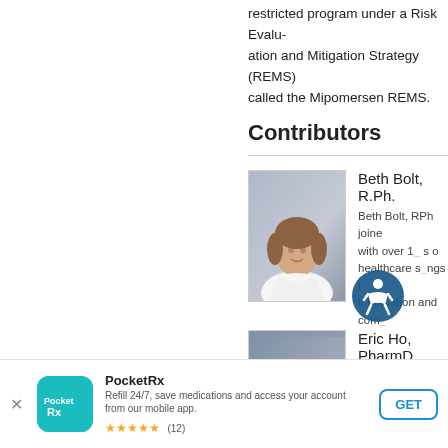restricted program under a Risk Evaluation and Mitigation Strategy (REMS) called the Mipomersen REMS.
Contributors
[Figure (photo): Headshot photo of Beth Bolt, R.Ph., a woman with shoulder-length brown hair wearing a white jacket, on a blue-grey gradient background.]
Beth Bolt, R.Ph.
Beth Bolt, RPh joined Drugs.com with over 1_ s of experience in healthcare s_ngs in providing drug information and com_
[Figure (photo): Headshot photo of Eric Ho, PharmD, a young man with dark hair wearing a light blue shirt, on a blue-grey gradient background.]
Eric Ho, PharmD
Eric Ho, PharmD se_ lead with responsibil_
[Figure (screenshot): Accessibility icon overlay — circular teal badge with white wheelchair/person accessibility symbol.]
PocketRx
Refill 24/7, save medications and access your account from our mobile app.
★★★★★ (12)